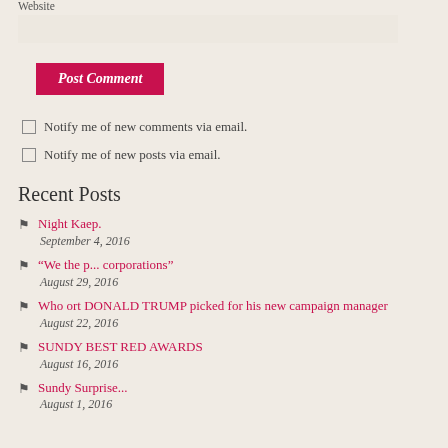Website
[input field]
Post Comment
Notify me of new comments via email.
Notify me of new posts via email.
Recent Posts
Night Kaep.
September 4, 2016
“We the p... corporations”
August 29, 2016
Who ort DONALD TRUMP picked for his new campaign manager
August 22, 2016
SUNDY BEST RED AWARDS
August 16, 2016
Sundy Surprise...
August 1, 2016